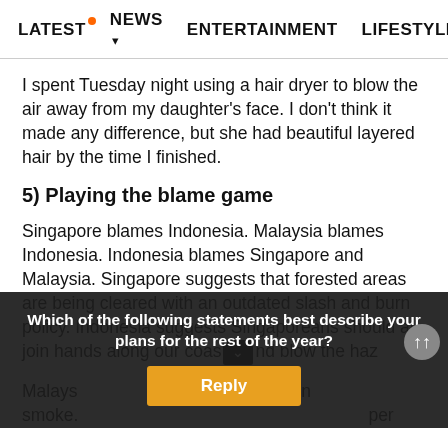LATEST • NEWS ▾ ENTERTAINMENT LIFESTYLE EC>
I spent Tuesday night using a hair dryer to blow the air away from my daughter's face. I don't think it made any difference, but she had beautiful layered hair by the time I finished.
5) Playing the blame game
Singapore blames Indonesia. Malaysia blames Indonesia. Indonesia blames Singapore and Malaysia. Singapore suggests that forested areas are being cleared with an outdated slash and burn policy. Indonesia suggests Singaporeans should all join hands along our coast and blow the haz
Malays in smoke. per
Which of the following statements best describe your plans for the rest of the year? Reply